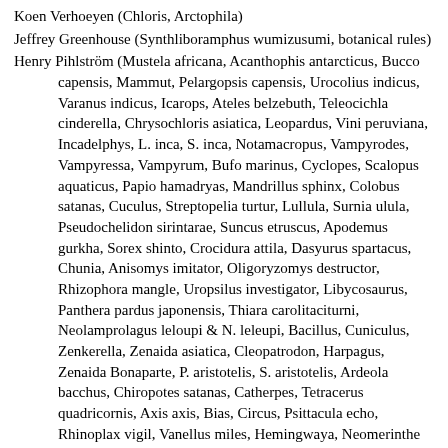Koen Verhoeyen (Chloris, Arctophila)
Jeffrey Greenhouse (Synthliboramphus wumizusumi, botanical rules)
Henry Pihlström (Mustela africana, Acanthophis antarcticus, Bucco capensis, Mammut, Pelargopsis capensis, Urocolius indicus, Varanus indicus, Icarops, Ateles belzebuth, Teleocichla cinderella, Chrysochloris asiatica, Leopardus, Vini peruviana, Incadelphys, L. inca, S. inca, Notamacropus, Vampyrodes, Vampyressa, Vampyrum, Bufo marinus, Cyclopes, Scalopus aquaticus, Papio hamadryas, Mandrillus sphinx, Colobus satanas, Cuculus, Streptopelia turtur, Lullula, Surnia ulula, Pseudochelidon sirintarae, Suncus etruscus, Apodemus gurkha, Sorex shinto, Crocidura attila, Dasyurus spartacus, Chunia, Anisomys imitator, Oligoryzomys destructor, Rhizophora mangle, Uropsilus investigator, Libycosaurus, Panthera pardus japonensis, Thiara carolitaciturni, Neolamprolagus leloupi & N. leleupi, Bacillus, Cuniculus, Zenkerella, Zenaida asiatica, Cleopatrodon, Harpagus, Zenaida Bonaparte, P. aristotelis, S. aristotelis, Ardeola bacchus, Chiropotes satanas, Catherpes, Tetracerus quadricornis, Axis axis, Bias, Circus, Psittacula echo, Rhinoplax vigil, Vanellus miles, Hemingwaya, Neomerinthe hemingwayi, Behemotops)
Ari Taponen (Hymenodon reggaeus)
Katharine Leah Dickson (Ariolimax dolichophallus)
Carl Mehling (Moloch, Fiona, Buffalopterus, misc. info and